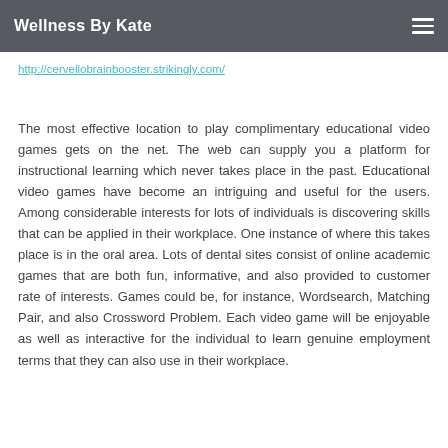Wellness By Kate
http://cervellobrainbooster.strikingly.com/
The most effective location to play complimentary educational video games gets on the net. The web can supply you a platform for instructional learning which never takes place in the past. Educational video games have become an intriguing and useful for the users. Among considerable interests for lots of individuals is discovering skills that can be applied in their workplace. One instance of where this takes place is in the oral area. Lots of dental sites consist of online academic games that are both fun, informative, and also provided to customer rate of interests. Games could be, for instance, Wordsearch, Matching Pair, and also Crossword Problem. Each video game will be enjoyable as well as interactive for the individual to learn genuine employment terms that they can also use in their workplace.